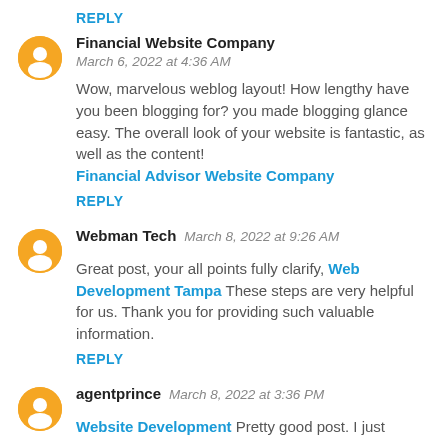REPLY
Financial Website Company — March 6, 2022 at 4:36 AM
Wow, marvelous weblog layout! How lengthy have you been blogging for? you made blogging glance easy. The overall look of your website is fantastic, as well as the content! Financial Advisor Website Company
REPLY
Webman Tech — March 8, 2022 at 9:26 AM
Great post, your all points fully clarify, Web Development Tampa These steps are very helpful for us. Thank you for providing such valuable information.
REPLY
agentprince — March 8, 2022 at 3:36 PM
Website Development Pretty good post. I just